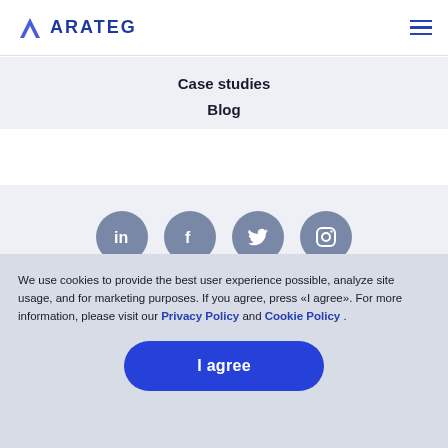ARATEG
Case studies
Blog
[Figure (infographic): Four social media icons in grey circles: LinkedIn (in), Facebook (f), Twitter (bird), Instagram (camera)]
We use cookies to provide the best user experience possible, analyze site usage, and for marketing purposes. If you agree, press «I agree». For more information, please visit our Privacy Policy and Cookie Policy .
I agree